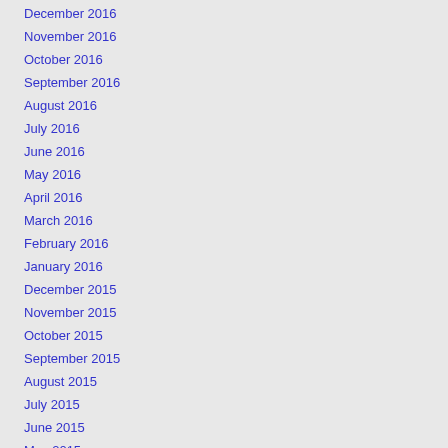December 2016
November 2016
October 2016
September 2016
August 2016
July 2016
June 2016
May 2016
April 2016
March 2016
February 2016
January 2016
December 2015
November 2015
October 2015
September 2015
August 2015
July 2015
June 2015
May 2015
January 2015